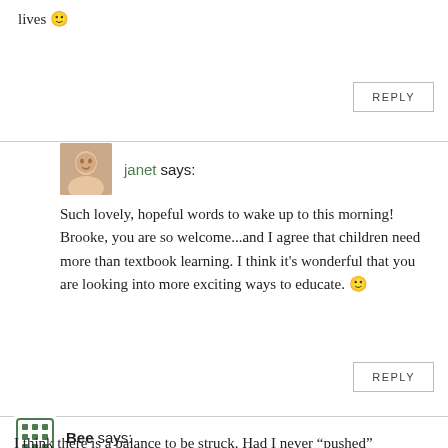lives 🙂
REPLY
janet says:
Such lovely, hopeful words to wake up to this morning! Brooke, you are so welcome...and I agree that children need more than textbook learning. I think it's wonderful that you are looking into more exciting ways to educate. 🙂
REPLY
Bee says:
I think there is a balance to be struck. Had I never "pushed" (encouraged, supported, not given up) my daughter to do